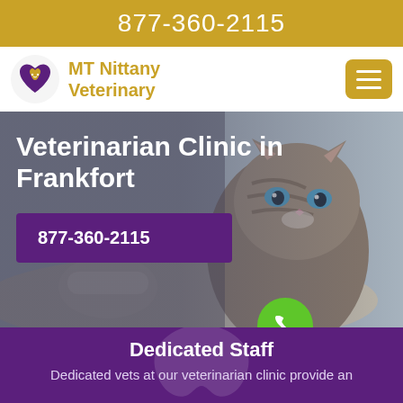877-360-2115
[Figure (logo): MT Nittany Veterinary logo with purple animal silhouette inside a heart shape]
MT Nittany Veterinary
[Figure (photo): Photo of a tabby kitten with blue eyes looking at the camera, with a bandaged paw visible]
Veterinarian Clinic in Frankfort
877-360-2115
Dedicated Staff
Dedicated vets at our veterinarian clinic provide an